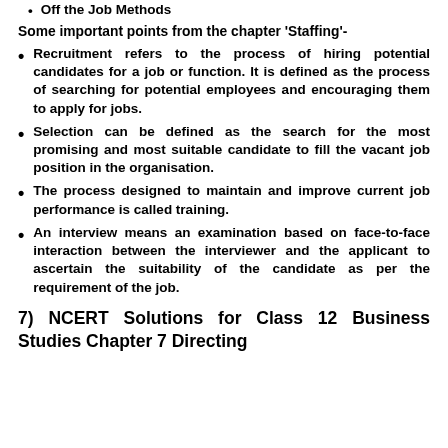Off the Job Methods
Some important points from the chapter 'Staffing'-
Recruitment refers to the process of hiring potential candidates for a job or function. It is defined as the process of searching for potential employees and encouraging them to apply for jobs.
Selection can be defined as the search for the most promising and most suitable candidate to fill the vacant job position in the organisation.
The process designed to maintain and improve current job performance is called training.
An interview means an examination based on face-to-face interaction between the interviewer and the applicant to ascertain the suitability of the candidate as per the requirement of the job.
7) NCERT Solutions for Class 12 Business Studies Chapter 7 Directing